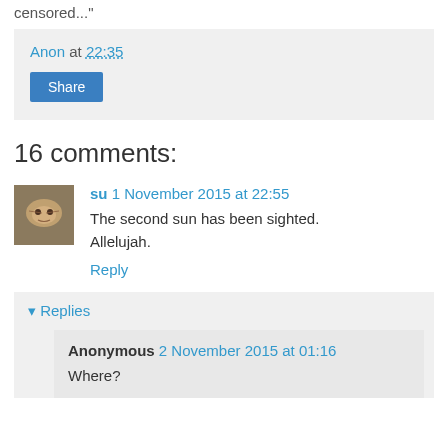censored..."
Anon at 22:35
Share
16 comments:
su 1 November 2015 at 22:55
The second sun has been sighted.
Allelujah.
Reply
▾ Replies
Anonymous 2 November 2015 at 01:16
Where?